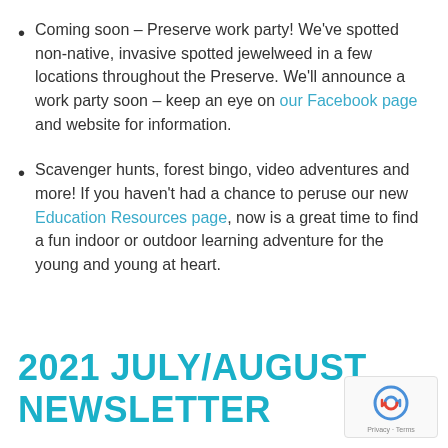Coming soon – Preserve work party! We've spotted non-native, invasive spotted jewelweed in a few locations throughout the Preserve. We'll announce a work party soon – keep an eye on our Facebook page and website for information.
Scavenger hunts, forest bingo, video adventures and more! If you haven't had a chance to peruse our new Education Resources page, now is a great time to find a fun indoor or outdoor learning adventure for the young and young at heart.
2021 JULY/AUGUST NEWSLETTER